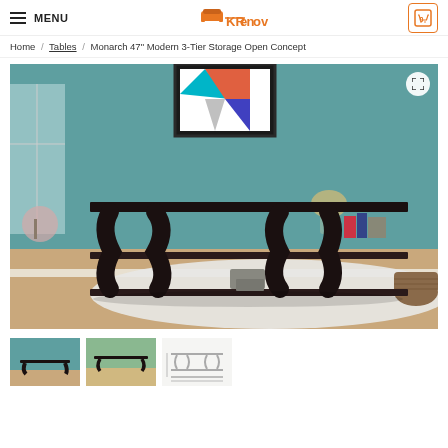MENU | KRenov | 0
Home / Tables / Monarch 47" Modern 3-Tier Storage Open Concept
[Figure (photo): Black modern 3-tier console/sofa table with curved hourglass-shaped legs against a teal wall, with books and flowers on top shelf and decorative boxes on bottom shelf, on a light wood floor with white rug]
[Figure (photo): Thumbnail of the same console table product image]
[Figure (photo): Second thumbnail of another view of the console table]
[Figure (illustration): Line sketch/schematic of the console table dimensions]